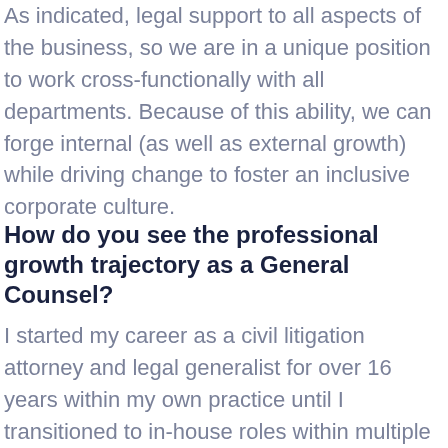As indicated, legal support to all aspects of the business, so we are in a unique position to work cross-functionally with all departments. Because of this ability, we can forge internal (as well as external growth) while driving change to foster an inclusive corporate culture.
How do you see the professional growth trajectory as a General Counsel?
I started my career as a civil litigation attorney and legal generalist for over 16 years within my own practice until I transitioned to in-house roles within multiple SaaS organizations.  One of the things I love most about the law is its flexibility to pursue